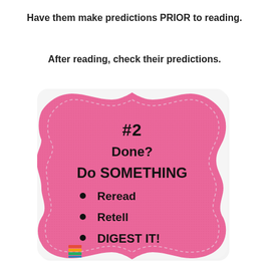Have them make predictions PRIOR to reading.
After reading, check their predictions.
[Figure (illustration): Pink fabric/burlap textured badge shape with dashed white stitching border. Contains black bold text: '#2 Done? Do SOMETHING' with bullet points listing 'Reread', 'Retell', 'DIGEST IT!' and a small colorful book stack icon at bottom left.]